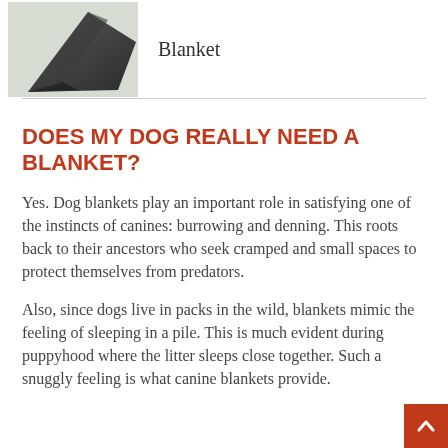[Figure (photo): Photo of a dark grey/black dog blanket product in the top-left corner]
Blanket
DOES MY DOG REALLY NEED A BLANKET?
Yes. Dog blankets play an important role in satisfying one of the instincts of canines: burrowing and denning. This roots back to their ancestors who seek cramped and small spaces to protect themselves from predators.
Also, since dogs live in packs in the wild, blankets mimic the feeling of sleeping in a pile. This is much evident during puppyhood where the litter sleeps close together. Such a snuggly feeling is what canine blankets provide.